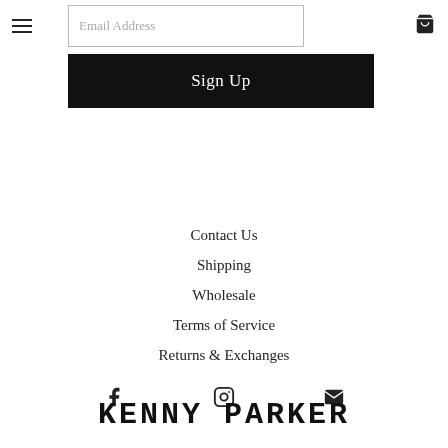KENNY PARKER
Email Address
Sign Up
Contact Us
Shipping
Wholesale
Terms of Service
Returns & Exchanges
[Figure (illustration): Social media icons: Facebook (f), Instagram (camera), Email (envelope)]
KENNY PARKER